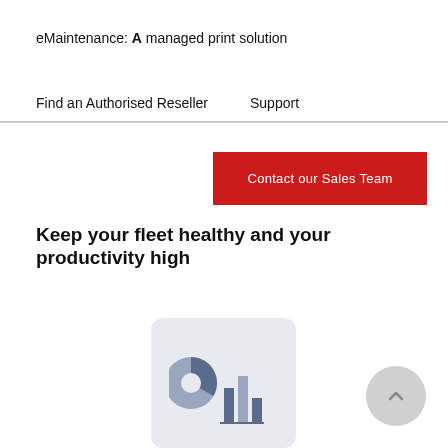eMaintenance: A managed print solution
Find an Authorised Reseller
Support
[Figure (other): Red 'Contact our Sales Team' call-to-action button]
Keep your fleet healthy and your productivity high
[Figure (infographic): Icon showing a pie chart and bar chart inside a rounded rectangle, representing analytics/reporting features]
[Figure (other): Circular scroll-to-top button with an upward chevron arrow]